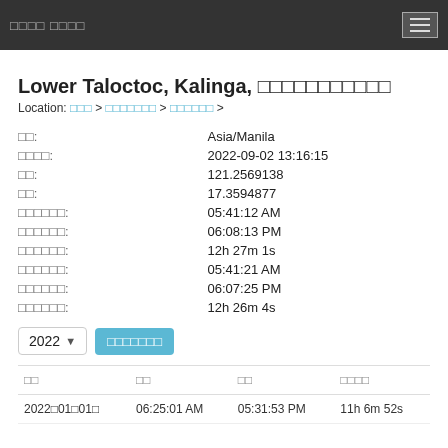□□□□□□□□
Lower Taloctoc, Kalinga, □□□□□□□□□□□
Location: □□□ > □□□□□□□ > □□□□□□ >
| □□: | Asia/Manila |
| □□□□: | 2022-09-02 13:16:15 |
| □□: | 121.2569138 |
| □□: | 17.3594877 |
| □□□□□□: | 05:41:12 AM |
| □□□□□□: | 06:08:13 PM |
| □□□□□□: | 12h 27m 1s |
| □□□□□□: | 05:41:21 AM |
| □□□□□□: | 06:07:25 PM |
| □□□□□□: | 12h 26m 4s |
2022 □□□□□□□
| □□ | □□ | □□ | □□□□ |
| --- | --- | --- | --- |
| 2022□01□01□ | 06:25:01 AM | 05:31:53 PM | 11h 6m 52s |